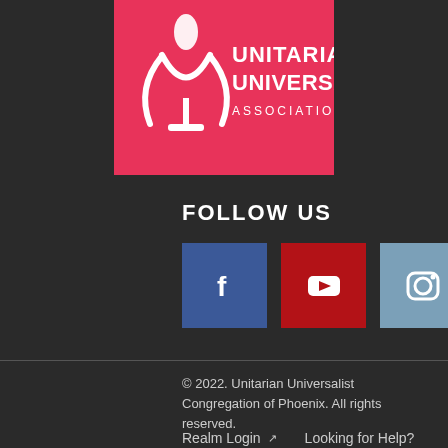[Figure (logo): Unitarian Universalist Association logo: pink/red rectangle with white flame and chalice graphic on the left and white text 'UNITARIAN UNIVERSALIST ASSOCIATION' on the right]
FOLLOW US
[Figure (infographic): Three social media icon buttons side by side: Facebook (blue square with 'f'), YouTube (red square with play button icon), Instagram (steel-blue square with camera icon)]
© 2022. Unitarian Universalist Congregation of Phoenix. All rights reserved.
Realm Login  Looking for Help?